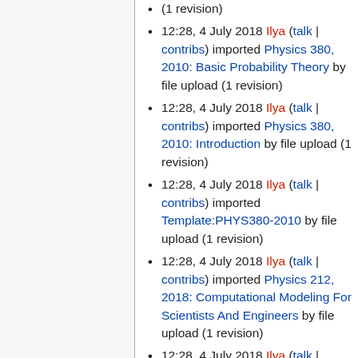(1 revision)
12:28, 4 July 2018 Ilya (talk | contribs) imported Physics 380, 2010: Basic Probability Theory by file upload (1 revision)
12:28, 4 July 2018 Ilya (talk | contribs) imported Physics 380, 2010: Introduction by file upload (1 revision)
12:28, 4 July 2018 Ilya (talk | contribs) imported Template:PHYS380-2010 by file upload (1 revision)
12:28, 4 July 2018 Ilya (talk | contribs) imported Physics 212, 2018: Computational Modeling For Scientists And Engineers by file upload (1 revision)
12:28, 4 July 2018 Ilya (talk | contribs) imported Physics 212,